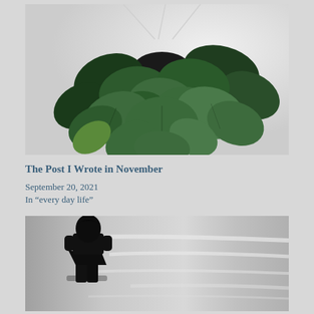[Figure (photo): A hanging philodendron or heart-leaf plant with large dark green leaves against a light grey/white background, suspended from thin white strings]
The Post I Wrote in November
September 20, 2021
In “every day life”
[Figure (photo): Black and white photo of a silhouette of a person standing facing away from the camera near rippling water or a reflective surface with light patterns]